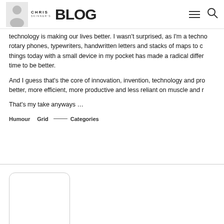Chris Skinner's Blog
technology is making our lives better. I wasn't surprised, as I'm a techno rotary phones, typewriters, handwritten letters and stacks of maps to c things today with a small device in my pocket has made a radical differ time to be better.
And I guess that's the core of innovation, invention, technology and pro better, more efficient, more productive and less reliant on muscle and r
That's my take anyways …
Humour   Grid   — Categories
[Figure (photo): Blank rounded rectangle placeholder image for author photo]
Chris M Skinner